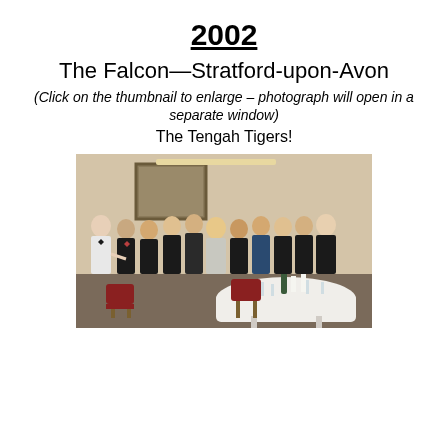2002
The Falcon—Stratford-upon-Avon
(Click on the thumbnail to enlarge – photograph will open in a separate window)
The Tengah Tigers!
[Figure (photo): Group photo of approximately 12-13 men in formal attire (tuxedos and suits) standing together in a banquet room. Red chairs and a round table with glassware and candles are visible in the foreground. A framed painting is on the wall behind them.]